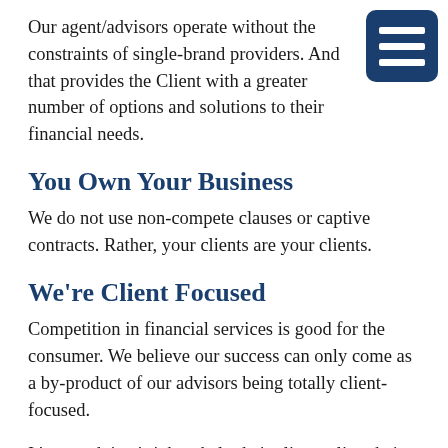Our agent/advisors operate without the constraints of single-brand providers. And that provides the Client with a greater number of options and solutions to their financial needs.
You Own Your Business
We do not use non-compete clauses or captive contracts. Rather, your clients are your clients.
We're Client Focused
Competition in financial services is good for the consumer. We believe our success can only come as a by-product of our advisors being totally client-focused.
It's our advisor's job to help their clients align their finances with their goals. HBW Partners does this by working with our advisors to create plans that their clients can actually